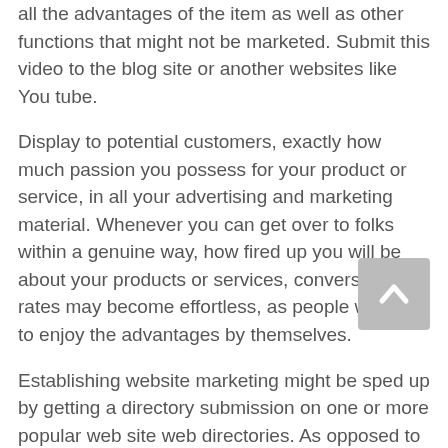all the advantages of the item as well as other functions that might not be marketed. Submit this video to the blog site or another websites like You tube.
Display to potential customers, exactly how much passion you possess for your product or service, in all your advertising and marketing material. Whenever you can get over to folks within a genuine way, how fired up you will be about your products or services, conversion rates may become effortless, as people will want to enjoy the advantages by themselves.
[Figure (other): Scroll-to-top button: a grey square button with an upward-pointing chevron/caret arrow]
Establishing website marketing might be sped up by getting a directory submission on one or more popular web site web directories. As opposed to looking to go across-hyperlink or perhaps be outlined on other